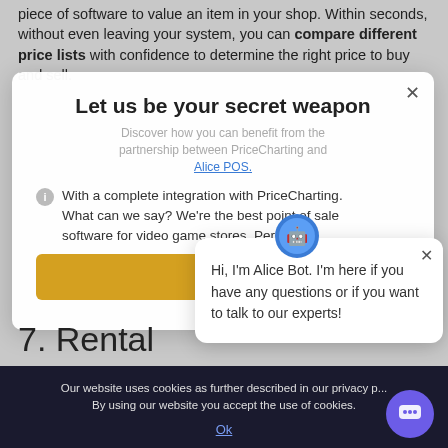piece of software to value an item in your shop. Within seconds, without even leaving your system, you can compare different price lists with confidence to determine the right price to buy and sell.
[Figure (screenshot): Modal popup overlay with title 'Let us be your secret weapon', subtitle about PriceCharting and Alice POS partnership, body text about integration, and a yellow '1UP' button]
With a complete integration with PriceCharting. What can we say? We're the best point of sale software for video game stores. Per...
[Figure (screenshot): Small chat popup with Alice Bot icon, close button, and message: 'Hi, I'm Alice Bot. I'm here if you have any questions or if you want to talk to our experts!']
Hi, I'm Alice Bot. I'm here if you have any questions or if you want to talk to our experts!
7. Rental
Our website uses cookies as further described in our privacy p... By using our website you accept the use of cookies.
Ok